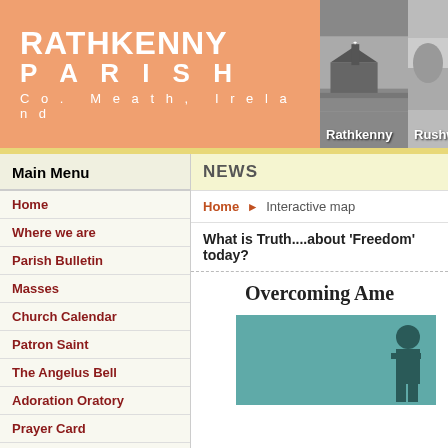[Figure (screenshot): Rathkenny Parish website banner with orange background showing parish name and two church photos labeled Rathkenny and Rushw...]
Main Menu
Home
Where we are
Parish Bulletin
Masses
Church Calendar
Patron Saint
The Angelus Bell
Adoration Oratory
Prayer Card
Sacraments
Prayer Devotions
Questions/Answers
Schools
Organizations
Web Links
NEWS
Home ▶ Interactive map
What is Truth....about 'Freedom' today?
Overcoming Ame...
[Figure (photo): Teal/turquoise colored image with a dark silhouette figure, partially visible]